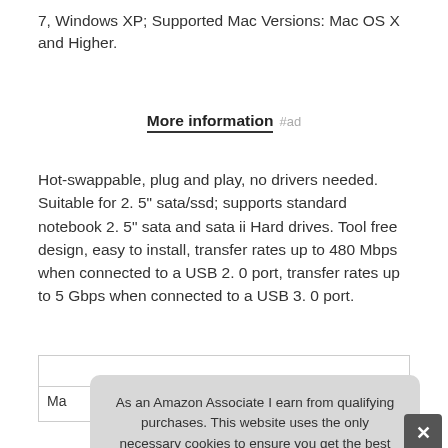7, Windows XP; Supported Mac Versions: Mac OS X and Higher.
More information #ad
Hot-swappable, plug and play, no drivers needed. Suitable for 2. 5" sata/ssd; supports standard notebook 2. 5" sata and sata ii Hard drives. Tool free design, easy to install, transfer rates up to 480 Mbps when connected to a USB 2. 0 port, transfer rates up to 5 Gbps when connected to a USB 3. 0 port.
| Ma |
As an Amazon Associate I earn from qualifying purchases. This website uses the only necessary cookies to ensure you get the best experience on our website. More information